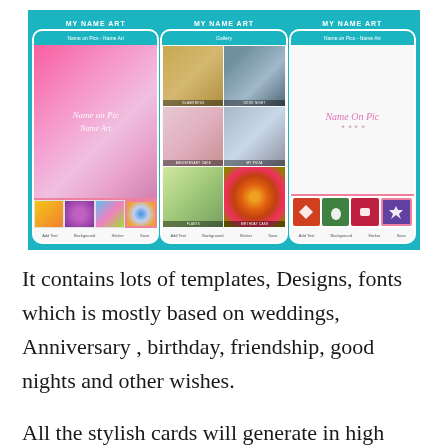[Figure (screenshot): Three smartphone screenshots of the 'MY NAME ART' app, showing a name art editor with pink gradient background and thumbnails, a gallery view with category images, and a name art editor with feather/butterfly design and leaf thumbnails. All set against a teal/turquoise background.]
It contains lots of templates, Designs, fonts which is mostly based on weddings, Anniversary , birthday, friendship, good nights and other wishes.
All the stylish cards will generate in high quality